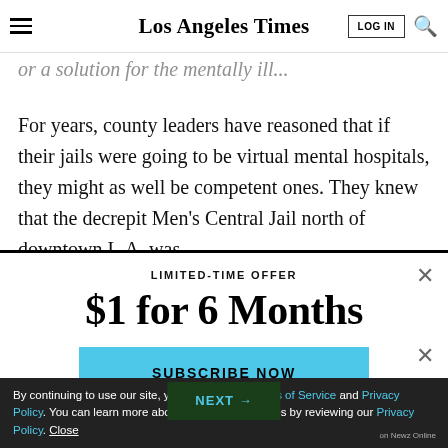Los Angeles Times
...or a solution for the mentally ill...
For years, county leaders have reasoned that if their jails were going to be virtual mental hospitals, they might as well be competent ones. They knew that the decrepit Men's Central Jail north of downtown L.A. was...
LIMITED-TIME OFFER
$1 for 6 Months
SUBSCRIBE NOW
By continuing to use our site, you agree to our Terms of Service and Privacy Policy. You can learn more about how we use cookies by reviewing our Privacy Policy. Close